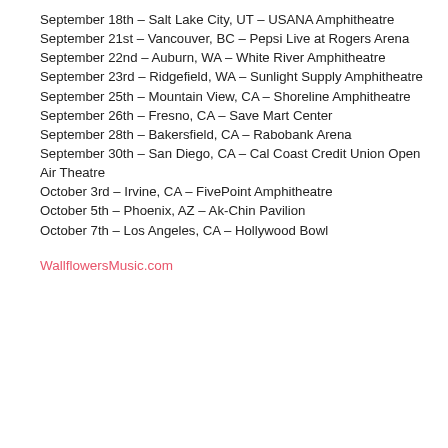September 18th – Salt Lake City, UT – USANA Amphitheatre
September 21st – Vancouver, BC – Pepsi Live at Rogers Arena
September 22nd – Auburn, WA – White River Amphitheatre
September 23rd – Ridgefield, WA – Sunlight Supply Amphitheatre
September 25th – Mountain View, CA – Shoreline Amphitheatre
September 26th – Fresno, CA – Save Mart Center
September 28th – Bakersfield, CA – Rabobank Arena
September 30th – San Diego, CA – Cal Coast Credit Union Open Air Theatre
October 3rd – Irvine, CA – FivePoint Amphitheatre
October 5th – Phoenix, AZ – Ak-Chin Pavilion
October 7th – Los Angeles, CA – Hollywood Bowl
WallflowersMusic.com